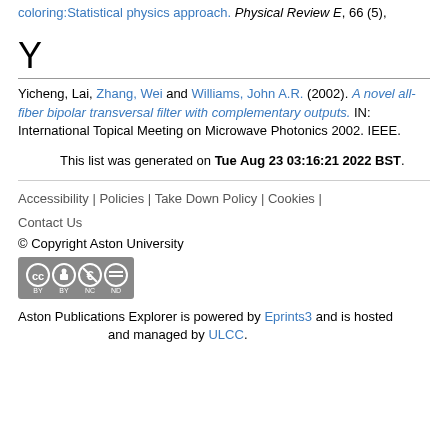coloring:Statistical physics approach. Physical Review E, 66 (5),
Y
Yicheng, Lai, Zhang, Wei and Williams, John A.R. (2002). A novel all-fiber bipolar transversal filter with complementary outputs. IN: International Topical Meeting on Microwave Photonics 2002. IEEE.
This list was generated on Tue Aug 23 03:16:21 2022 BST.
Accessibility | Policies | Take Down Policy | Cookies | Contact Us
© Copyright Aston University
Aston Publications Explorer is powered by Eprints3 and is hosted and managed by ULCC.